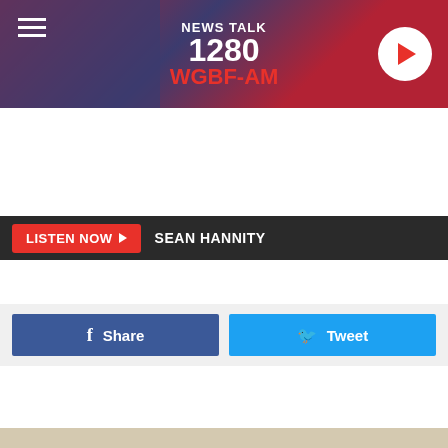[Figure (screenshot): NEWS TALK 1280 WGBF-AM radio station header banner with American flag background, hamburger menu icon, station logo, and play button]
LISTEN NOW ▶  SEAN HANNITY
[Figure (screenshot): Facebook Share button and Twitter Tweet button social sharing bar]
[Figure (screenshot): Newspaper clipping image with WGBF-AM watermark showing article headline and body text on aged newspaper background]
Free shredding event coming April 1
If you have canceled checks, receipts and other documents that need to be shredded, Daviess Fiscal Court and the